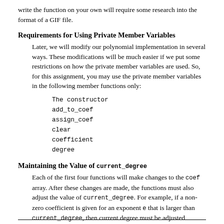write the function on your own will require some research into the format of a GIF file.
Requirements for Using Private Member Variables
Later, we will modify our polynomial implementation in several ways. These modifications will be much easier if we put some restrictions on how the private member variables are used. So, for this assignment, you may use the private member variables in the following member functions only:
The constructor
add_to_coef
assign_coef
clear
coefficient
degree
Maintaining the Value of current_degree
Each of the first four functions will make changes to the coef array. After these changes are made, the functions must also adjust the value of current_degree. For example, if a non-zero coefficient is given for an exponent e that is larger than current_degree, then current degree must be adjusted upward to e. There is also several situations where the current_degree must be adjusted downward.